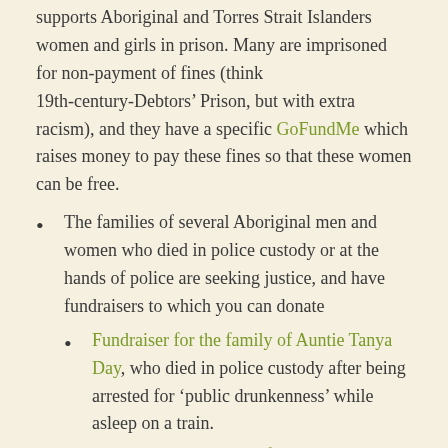supports Aboriginal and Torres Strait Islanders women and girls in prison. Many are imprisoned for non-payment of fines (think 19th-century-Debtors' Prison, but with extra racism), and they have a specific GoFundMe which raises money to pay these fines so that these women can be free.
The families of several Aboriginal men and women who died in police custody or at the hands of police are seeking justice, and have fundraisers to which you can donate
Fundraiser for the family of Auntie Tanya Day, who died in police custody after being arrested for 'public drunkenness' while asleep on a train.
Fundraiser in memory of Joyce Clarke, who